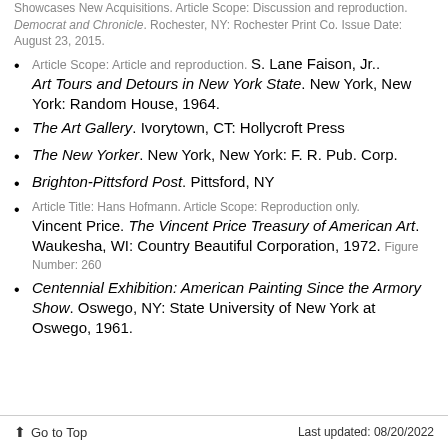Showcases New Acquisitions. Article Scope: Discussion and reproduction. Democrat and Chronicle. Rochester, NY: Rochester Print Co. Issue Date: August 23, 2015.
Article Scope: Article and reproduction. S. Lane Faison, Jr.. Art Tours and Detours in New York State. New York, New York: Random House, 1964.
The Art Gallery. Ivorytown, CT: Hollycroft Press
The New Yorker. New York, New York: F. R. Pub. Corp.
Brighton-Pittsford Post. Pittsford, NY
Article Title: Hans Hofmann. Article Scope: Reproduction only. Vincent Price. The Vincent Price Treasury of American Art. Waukesha, WI: Country Beautiful Corporation, 1972. Figure Number: 260
Centennial Exhibition: American Painting Since the Armory Show. Oswego, NY: State University of New York at Oswego, 1961.
Go to Top   Last updated: 08/20/2022